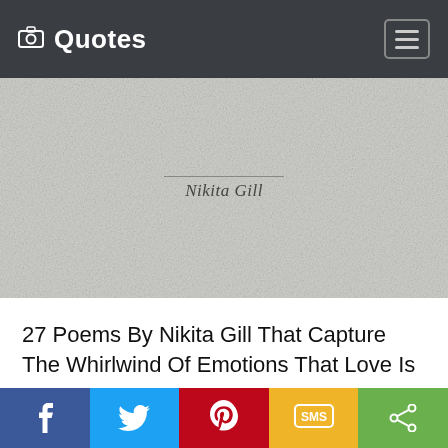Quotes
[Figure (photo): Textured light gray background with italic text 'Nikita Gill' and a horizontal line above the name, resembling a book page or cover detail]
27 Poems By Nikita Gill That Capture The Whirlwind Of Emotions That Love Is
View
Facebook | Twitter | Pinterest | SMS | Share